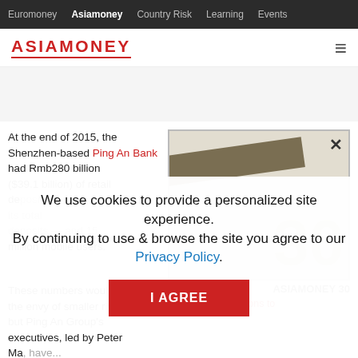Euromoney  Asiamoney  Country Risk  Learning  Events
ASIAMONEY
[Figure (illustration): Asiamoney magazine cover thumbnail with brushstroke and large '30' numeral watermark]
At the end of 2015, the Shenzhen-based Ping An Bank had Rmb280 billion ($39.1 billion) of retail deposits — just 13.2% of its total deposits — and 15 million mobile users. These numbers would be the envy of smaller rivals, but Ping An Group's executives, led by Peter Ma, have...
ASIAMONEY 30
• Financial institutions to...
We use cookies to provide a personalized site experience.
By continuing to use & browse the site you agree to our Privacy Policy.
I AGREE